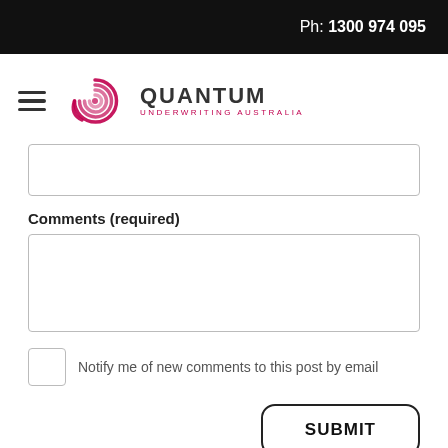Ph: 1300 974 095
[Figure (logo): Quantum Underwriting Australia logo with hamburger menu icon]
Comments (required)
Notify me of new comments to this post by email
SUBMIT